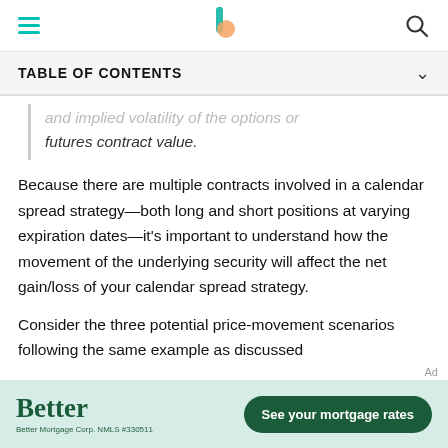TABLE OF CONTENTS
and implied volatility of the options or futures contract value.
Because there are multiple contracts involved in a calendar spread strategy—both long and short positions at varying expiration dates—it's important to understand how the movement of the underlying security will affect the net gain/loss of your calendar spread strategy.
Consider the three potential price-movement scenarios following the same example as discussed
[Figure (other): Better Mortgage advertisement banner with logo and 'See your mortgage rates' button]